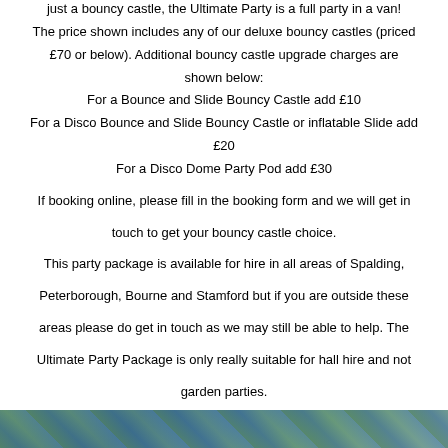just a bouncy castle, the Ultimate Party is a full party in a van! The price shown includes any of our deluxe bouncy castles (priced £70 or below).  Additional bouncy castle upgrade charges are shown below:
For a Bounce and Slide Bouncy Castle add £10
For a Disco Bounce and Slide Bouncy Castle or inflatable Slide add £20
For a Disco Dome Party Pod add £30
If booking online, please fill in the booking form and we will get in touch to get your bouncy castle choice.
This party package is available for hire in all areas of Spalding, Peterborough, Bourne and Stamford but if you are outside these areas please do get in touch as we may still be able to help.  The Ultimate Party Package is only really suitable for hall hire and not garden parties.
You can book our Ultimate Party online 24/7 using our fabulous online booking system, but should you prefer to speak to a real person, please don't hesitate to give us a ring on 07932 151095.
[Figure (photo): Partial view of a colorful image at the bottom of the page, appears to show party-related imagery with blue and green colors]